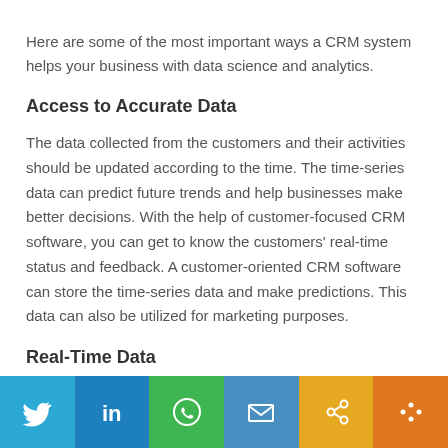Here are some of the most important ways a CRM system helps your business with data science and analytics.
Access to Accurate Data
The data collected from the customers and their activities should be updated according to the time. The time-series data can predict future trends and help businesses make better decisions. With the help of customer-focused CRM software, you can get to know the customers' real-time status and feedback. A customer-oriented CRM software can store the time-series data and make predictions. This data can also be utilized for marketing purposes.
Real-Time Data
[Figure (infographic): Social media sharing bar with icons for Twitter, LinkedIn, WhatsApp, Email, Copy link, and Share]